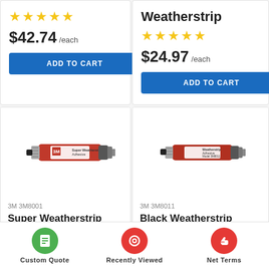★★★★★
$42.74 /each
ADD TO CART
Weatherstrip
★★★★★
$24.97 /each
ADD TO CART
[Figure (photo): 3M Super Weatherstrip Adhesive tube product photo]
3M 3M8001
Super Weatherstrip Adhesive
[Figure (photo): 3M Black Weatherstrip Adhesive tube product photo]
3M 3M8011
Black Weatherstrip Adhesive
Custom Quote   Recently Viewed   Net Terms